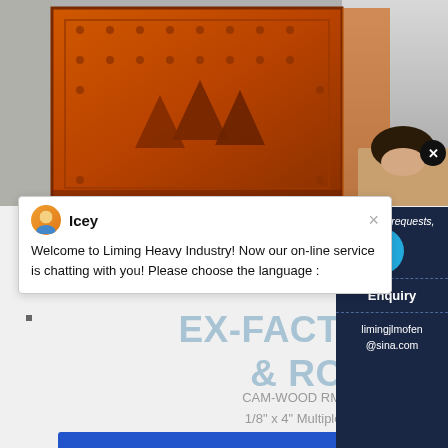[Figure (photo): Orange industrial crushing/milling machine, photographed from the side showing large metal panels with bolts and triangular teeth/blades. Background shows a grey wall. Bottom right has a partial view of a person (woman with dark hair).]
Icey
Welcome to Liming Heavy Industry! Now our on-line service is chatting with you! Please choose the language :
EX-FACTORY DOWEL M... & ROUND POLE...
CAM-WOOD RM-30100-AT Dowel Milling Machine; 1/8" x 4" Multiple Round Pole Machine: Each Siz... Comment: High Productive way of manufacturi...
Have any requests, click here
Quote
Enquiry
limingjlmofen@sina.com